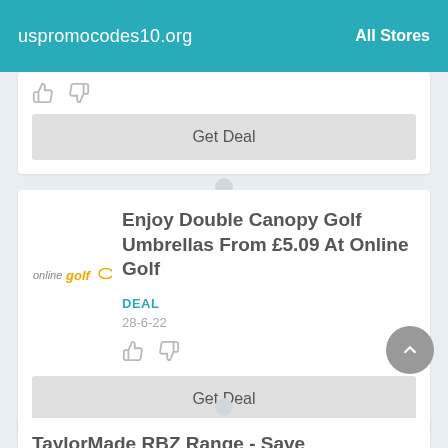uspromocodes10.org | All Stores
Get Deal
Enjoy Double Canopy Golf Umbrellas From £5.09 At Online Golf
DEAL
28-6-22
Get Deal
TaylorMade RBZ Range - Save